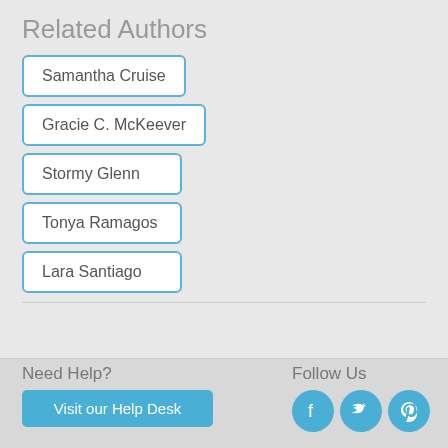Related Authors
Samantha Cruise
Gracie C. McKeever
Stormy Glenn
Tonya Ramagos
Lara Santiago
Need Help?
Visit our Help Desk
Follow Us